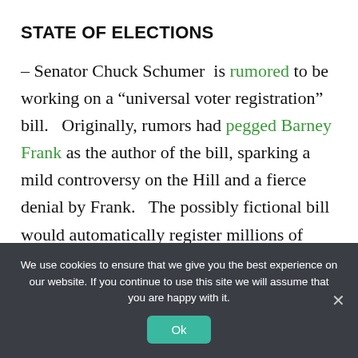STATE OF ELECTIONS
– Senator Chuck Schumer is rumored to be working on a “universal voter registration” bill. Originally, rumors had pegged Barney Frank as the author of the bill, sparking a mild controversy on the Hill and a fierce denial by Frank. The possibly fictional bill would automatically register millions of people to vote.
We use cookies to ensure that we give you the best experience on our website. If you continue to use this site we will assume that you are happy with it.